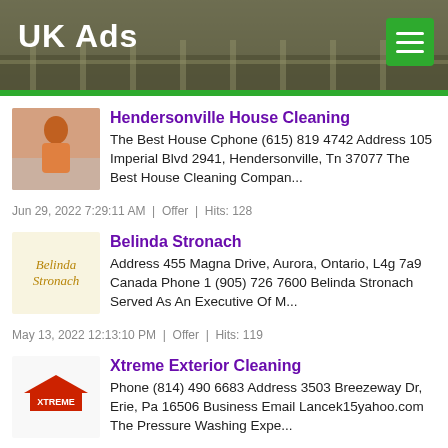UK Ads
Hendersonville House Cleaning
The Best House Cphone (615) 819 4742 Address 105 Imperial Blvd 2941, Hendersonville, Tn 37077 The Best House Cleaning Compan...
Jun 29, 2022 7:29:11 AM  |  Offer  |  Hits: 128
Belinda Stronach
Address 455 Magna Drive, Aurora, Ontario, L4g 7a9 Canada Phone 1 (905) 726 7600 Belinda Stronach Served As An Executive Of M...
May 13, 2022 12:13:10 PM  |  Offer  |  Hits: 119
Xtreme Exterior Cleaning
Phone (814) 490 6683 Address 3503 Breezeway Dr, Erie, Pa 16506 Business Email Lancek15yahoo.com The Pressure Washing Expe...
May 16, 2022 4:15:52 PM  |  Offer  |  Hits: 146